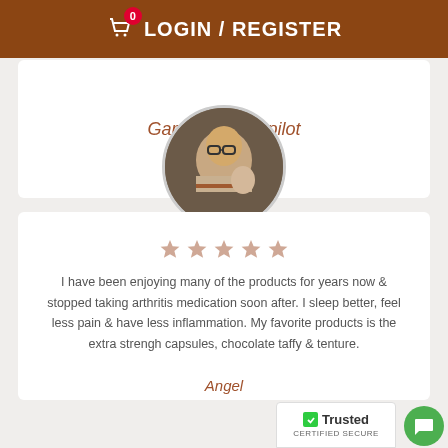LOGIN / REGISTER
Gary A. - Trustpilot
[Figure (photo): Circular profile photo of a woman wearing glasses holding a baby/toddler, wearing a patterned sweater]
□□□□□
I have been enjoying many of the products for years now & stopped taking arthritis medication soon after. I sleep better, feel less pain & have less inflammation. My favorite products is the extra strengh capsules, chocolate taffy & tenture.
Angel